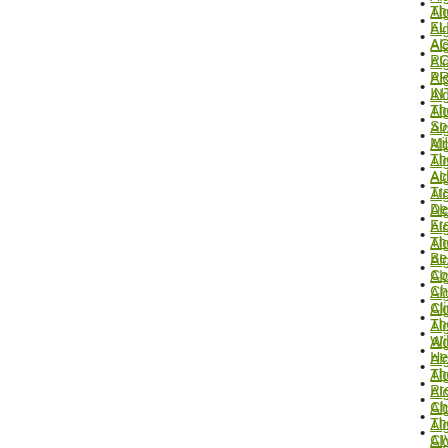Algeria-The A
Algeria-FLN
Algeria-AGRI
Algeria-POLIT
Algeria-PREF
Algeria-INTE
Algeria-The W
Algeria-Socia
Algeria-Milita
Algeria-The Is
Algeria-Ackno
Algeria-Trans
Algeria-Demo
Algeria-Franc
Algeria-The S
Algeria-Berbe
Algeria-Color
Algeria-Chap
Algeria-Clima
Algeria-The M
Algeria-Wilay
Algeria-Hege
Algeria-The M
Algeria-Prein
Algeria-Chap
Algeria-The Is
Algeria-CIVIL
Algeria-Banki
Algeria-THE A
Algeria-Secu